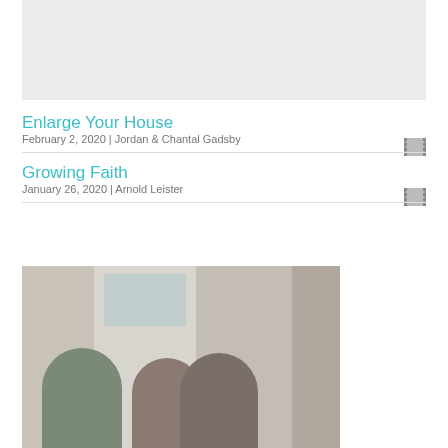[Figure (photo): Partial top image with light gray background, cropped at top]
Enlarge Your House
February 2, 2020 | Jordan & Chantal Gadsby
Growing Faith
January 26, 2020 | Arnold Leister
[Figure (photo): Family photo showing two adults and a child standing in front of a house door with siding and shutters visible]